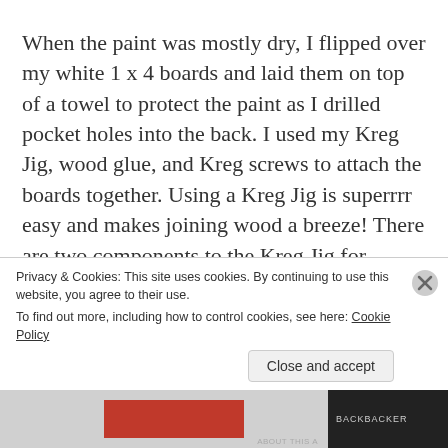When the paint was mostly dry, I flipped over my white 1 x 4 boards and laid them on top of a towel to protect the paint as I drilled pocket holes into the back. I used my Kreg Jig, wood glue, and Kreg screws to attach the boards together. Using a Kreg Jig is superrrr easy and makes joining wood a breeze! There are two components to the Kreg Jig for creating pocket holes – a hole maker and a drill bit. You line up
Privacy & Cookies: This site uses cookies. By continuing to use this website, you agree to their use.
To find out more, including how to control cookies, see here: Cookie Policy
Close and accept